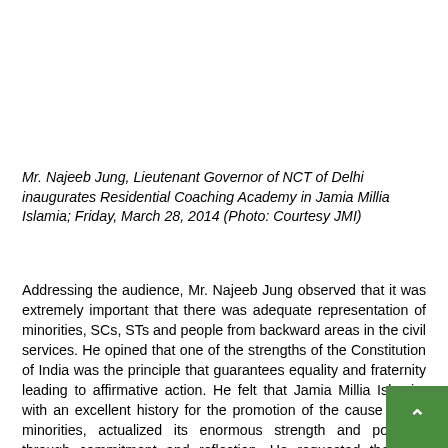Mr. Najeeb Jung, Lieutenant Governor of NCT of Delhi inaugurates Residential Coaching Academy in Jamia Millia Islamia; Friday, March 28, 2014 (Photo: Courtesy JMI)
Addressing the audience, Mr. Najeeb Jung observed that it was extremely important that there was adequate representation of minorities, SCs, STs and people from backward areas in the civil services. He opined that one of the strengths of the Constitution of India was the principle that guarantees equality and fraternity leading to affirmative action. He felt that Jamia Millia Islamia, with an excellent history for the promotion of the cause of the minorities, actualized its enormous strength and potential through commitment and reflection. He requested the Vice Chancellor of the university to make